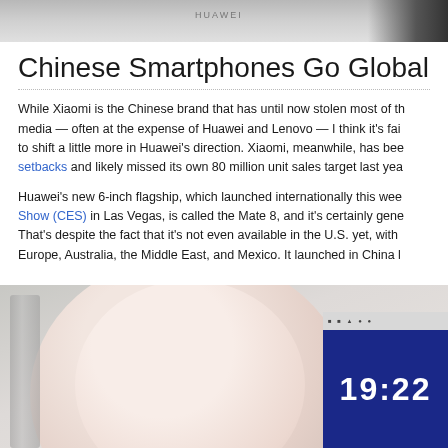[Figure (photo): Top portion of a photo showing Huawei branding on a white surface, partially cropped]
Chinese Smartphones Go Global
While Xiaomi is the Chinese brand that has until now stolen most of the media — often at the expense of Huawei and Lenovo — I think it's fair to shift a little more in Huawei's direction. Xiaomi, meanwhile, has been [setbacks] and likely missed its own 80 million unit sales target last year.
Huawei's new 6-inch flagship, which launched internationally this week at the [Consumer Electronics Show (CES)] in Las Vegas, is called the Mate 8, and it's certainly generating buzz. That's despite the fact that it's not even available in the U.S. yet, with availability in Europe, Australia, the Middle East, and Mexico. It launched in China last year.
[Figure (photo): Photo of a pink plate on a table with cutlery on the left side and a Huawei smartphone showing time 19:22 in the bottom right corner]